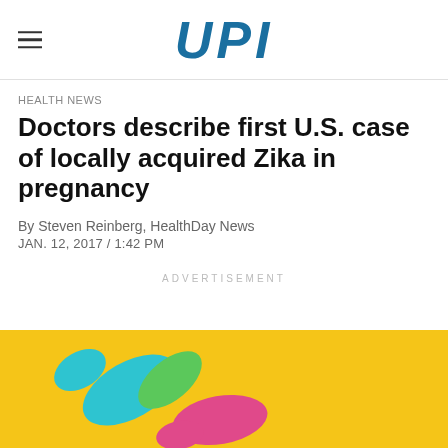UPI
HEALTH NEWS
Doctors describe first U.S. case of locally acquired Zika in pregnancy
By Steven Reinberg, HealthDay News
JAN. 12, 2017 / 1:42 PM
ADVERTISEMENT
[Figure (photo): Colorful pills/capsules on a yellow background]